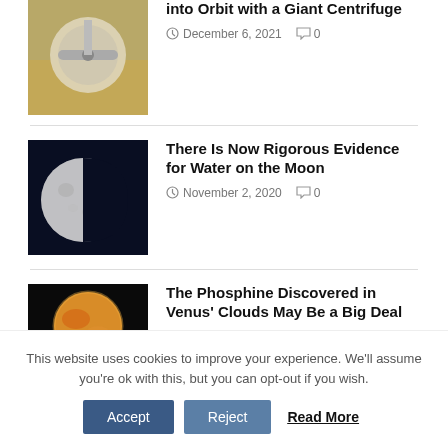[Figure (photo): Centrifuge launcher device in desert setting]
into Orbit with a Giant Centrifuge
December 6, 2021  0
[Figure (photo): Moon photograph against dark sky]
There Is Now Rigorous Evidence for Water on the Moon
November 2, 2020  0
[Figure (photo): Venus planet image with orange glow]
The Phosphine Discovered in Venus' Clouds May Be a Big Deal
This website uses cookies to improve your experience. We'll assume you're ok with this, but you can opt-out if you wish.